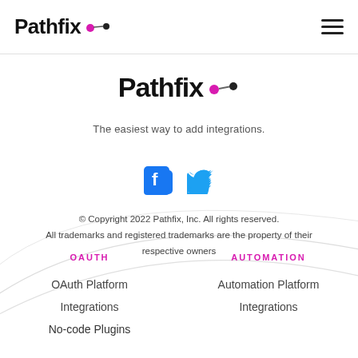Pathfix [logo] [hamburger menu]
[Figure (logo): Pathfix logo large with pink dot and connecting line icon]
The easiest way to add integrations.
[Figure (infographic): Facebook and Twitter social media icons]
© Copyright 2022 Pathfix, Inc. All rights reserved.
All trademarks and registered trademarks are the property of their respective owners
OAUTH
AUTOMATION
OAuth Platform
Integrations
No-code Plugins
Automation Platform
Integrations